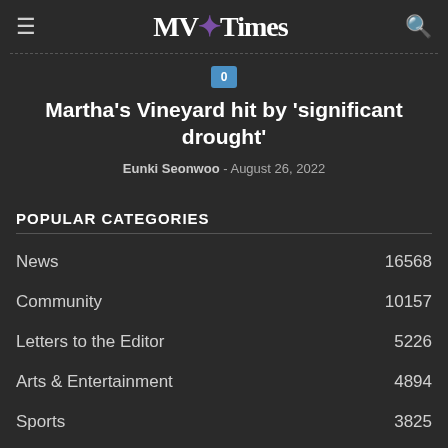MV Times
Martha's Vineyard hit by 'significant drought'
Eunki Seonwoo - August 26, 2022
POPULAR CATEGORIES
News 16568
Community 10157
Letters to the Editor 5226
Arts & Entertainment 4894
Sports 3825
Obituaries 3455